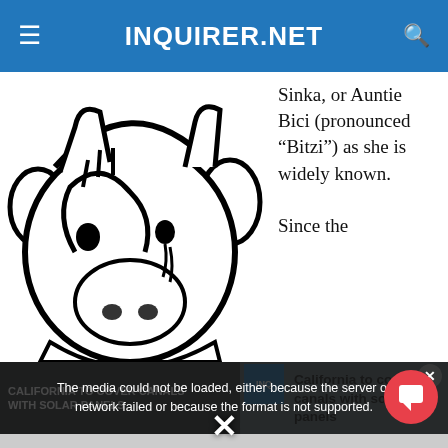INQUIRER.NET
[Figure (illustration): Black and white cartoon illustration of a cow-like character crying or covering its face with its hand]
Sinka, or Auntie Bici (pronounced “Bitzi”) as she is widely known.

Since the
The media could not be loaded, either because the server or network failed or because the format is not supported.
[Figure (screenshot): Video thumbnail showing California To Cover Canals With Solar Panels news story]
California to cover canals with solar panels